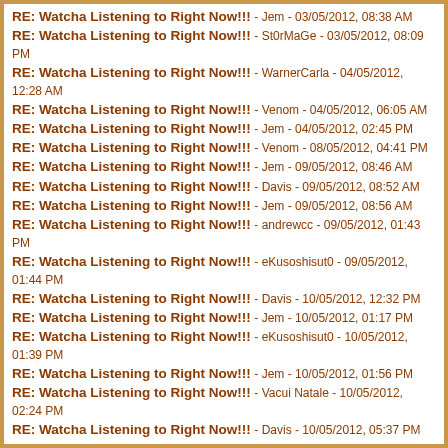RE: Watcha Listening to Right Now!!! - Jem - 03/05/2012, 08:38 AM
RE: Watcha Listening to Right Now!!! - St0rMaGe - 03/05/2012, 08:09 PM
RE: Watcha Listening to Right Now!!! - WarnerCarla - 04/05/2012, 12:28 AM
RE: Watcha Listening to Right Now!!! - Venom - 04/05/2012, 06:05 AM
RE: Watcha Listening to Right Now!!! - Jem - 04/05/2012, 02:45 PM
RE: Watcha Listening to Right Now!!! - Venom - 08/05/2012, 04:41 PM
RE: Watcha Listening to Right Now!!! - Jem - 09/05/2012, 08:46 AM
RE: Watcha Listening to Right Now!!! - Davis - 09/05/2012, 08:52 AM
RE: Watcha Listening to Right Now!!! - Jem - 09/05/2012, 08:56 AM
RE: Watcha Listening to Right Now!!! - andrewcc - 09/05/2012, 01:43 PM
RE: Watcha Listening to Right Now!!! - eKusoshisut0 - 09/05/2012, 01:44 PM
RE: Watcha Listening to Right Now!!! - Davis - 10/05/2012, 12:32 PM
RE: Watcha Listening to Right Now!!! - Jem - 10/05/2012, 01:17 PM
RE: Watcha Listening to Right Now!!! - eKusoshisut0 - 10/05/2012, 01:39 PM
RE: Watcha Listening to Right Now!!! - Jem - 10/05/2012, 01:56 PM
RE: Watcha Listening to Right Now!!! - Vacui Natale - 10/05/2012, 02:24 PM
RE: Watcha Listening to Right Now!!! - Davis - 10/05/2012, 05:37 PM
RE: Watcha Listening to Right Now!!! - Jem - 11/05/2012, 11:27 AM
RE: Watcha Listening to Right Now!!! - eznoir - 11/05/2012, 12:14 PM